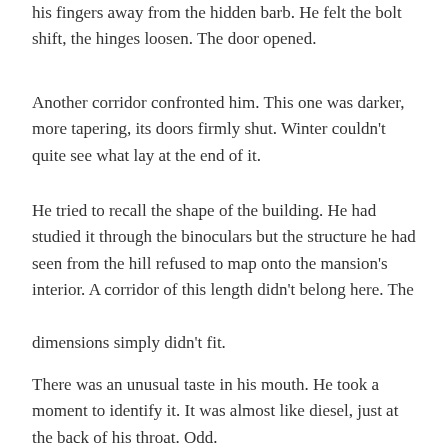his fingers away from the hidden barb. He felt the bolt shift, the hinges loosen. The door opened.
Another corridor confronted him. This one was darker, more tapering, its doors firmly shut. Winter couldn't quite see what lay at the end of it.
He tried to recall the shape of the building. He had studied it through the binoculars but the structure he had seen from the hill refused to map onto the mansion's interior. A corridor of this length didn't belong here. The
dimensions simply didn't fit.
There was an unusual taste in his mouth. He took a moment to identify it. It was almost like diesel, just at the back of his throat. Odd.